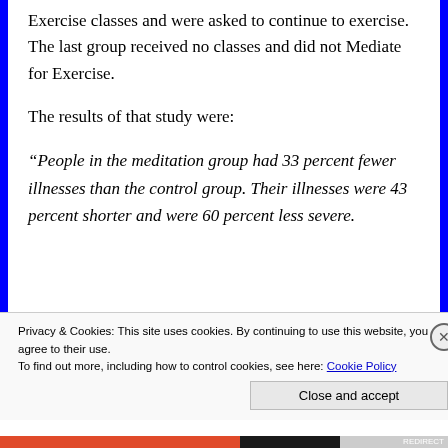Exercise classes and were asked to continue to exercise. The last group received no classes and did not Mediate for Exercise.
The results of that study were:
“People in the meditation group had 33 percent fewer illnesses than the control group. Their illnesses were 43 percent shorter and were 60 percent less severe.
In the exercise group, their incidence and duration...
Privacy & Cookies: This site uses cookies. By continuing to use this website, you agree to their use.
To find out more, including how to control cookies, see here: Cookie Policy
Close and accept